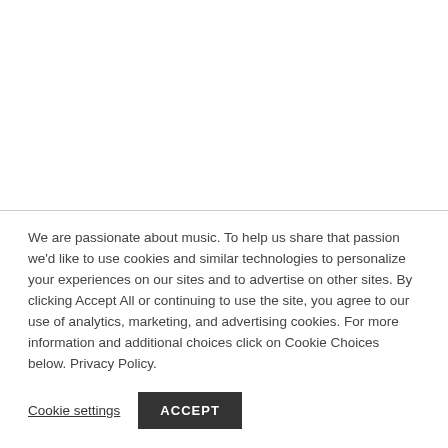We are passionate about music. To help us share that passion we'd like to use cookies and similar technologies to personalize your experiences on our sites and to advertise on other sites. By clicking Accept All or continuing to use the site, you agree to our use of analytics, marketing, and advertising cookies. For more information and additional choices click on Cookie Choices below. Privacy Policy.
Cookie settings
ACCEPT